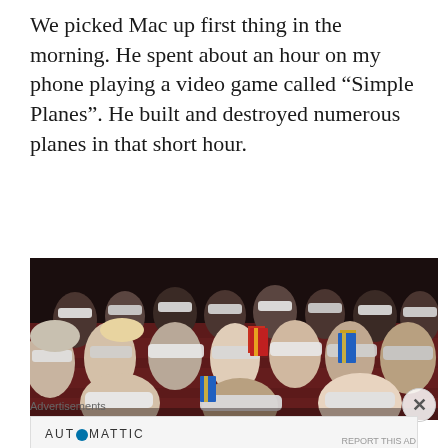We picked Mac up first thing in the morning. He spent about an hour on my phone playing a video game called “Simple Planes”. He built and destroyed numerous planes in that short hour.
[Figure (photo): Audience in a movie theater wearing 3D glasses, sitting in dark red seats, some holding popcorn boxes, all looking forward.]
Advertisements
AUTOMATTIC
Build a better web and a better world.